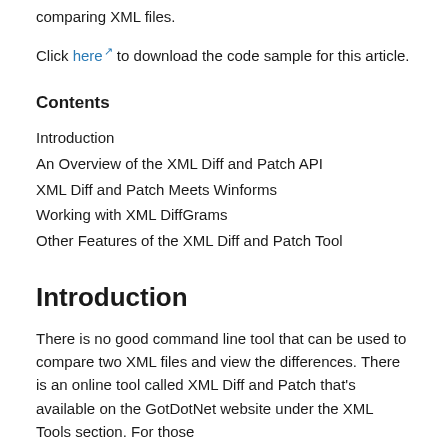comparing XML files.
Click here to download the code sample for this article.
Contents
Introduction
An Overview of the XML Diff and Patch API
XML Diff and Patch Meets Winforms
Working with XML DiffGrams
Other Features of the XML Diff and Patch Tool
Introduction
There is no good command line tool that can be used to compare two XML files and view the differences. There is an online tool called XML Diff and Patch that's available on the GotDotNet website under the XML Tools section. For those